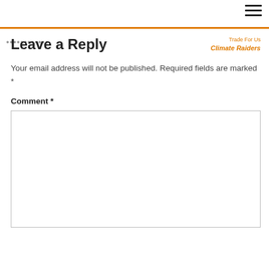Trade For Us  Climate Raiders
Leave a Reply
Your email address will not be published. Required fields are marked *
Comment *